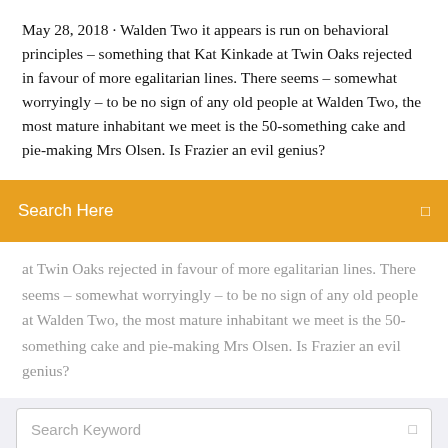May 28, 2018 · Walden Two it appears is run on behavioral principles – something that Kat Kinkade at Twin Oaks rejected in favour of more egalitarian lines. There seems – somewhat worryingly – to be no sign of any old people at Walden Two, the most mature inhabitant we meet is the 50-something cake and pie-making Mrs Olsen. Is Frazier an evil genius?
Search Here
at Twin Oaks rejected in favour of more egalitarian lines. There seems – somewhat worryingly – to be no sign of any old people at Walden Two, the most mature inhabitant we meet is the 50-something cake and pie-making Mrs Olsen. Is Frazier an evil genius?
Search Keyword